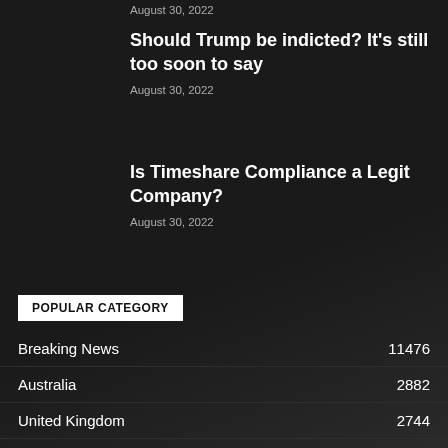August 30, 2022
Should Trump be indicted? It’s still too soon to say
August 30, 2022
Is Timeshare Compliance a Legit Company?
August 30, 2022
POPULAR CATEGORY
Breaking News 11476
Australia 2882
United Kingdom 2744
Canada 2435
Story 1197